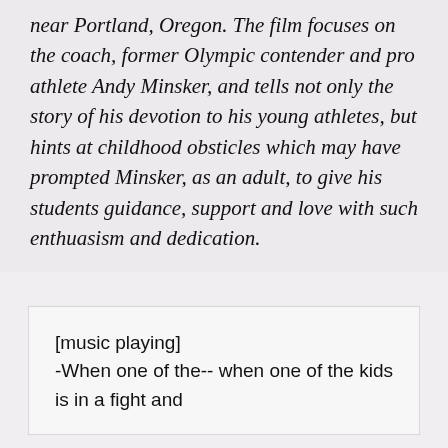near Portland, Oregon. The film focuses on the coach, former Olympic contender and pro athlete Andy Minsker, and tells not only the story of his devotion to his young athletes, but hints at childhood obsticles which may have prompted Minsker, as an adult, to give his students guidance, support and love with such enthuasism and dedication.
[music playing]

-When one of the-- when one of the kids is in a fight and